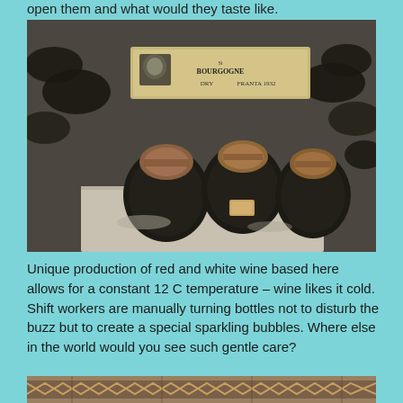open them and what would they taste like.
[Figure (photo): Old dusty wine bottles stored horizontally in a cellar rack, showing the bottoms/corks. A label in the background reads: BOURGOGNE DRY FRANTA 1932.]
Unique production of red and white wine based here allows for a constant 12 C temperature – wine likes it cold. Shift workers are manually turning bottles not to disturb the buzz but to create a special sparkling bubbles. Where else in the world would you see such gentle care?
[Figure (photo): Partial view of a decorative tile or mosaic pattern at the bottom of the page.]